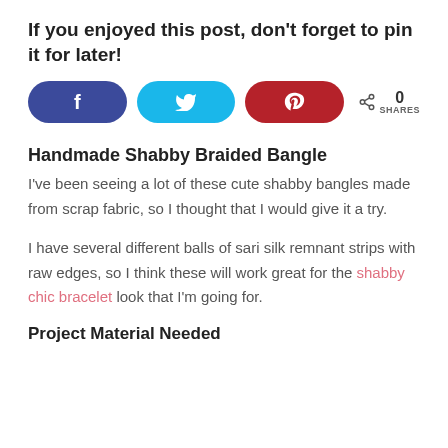If you enjoyed this post, don't forget to pin it for later!
[Figure (infographic): Social share buttons: Facebook (blue rounded), Twitter (cyan rounded), Pinterest (red rounded), and a share count showing 0 SHARES]
Handmade Shabby Braided Bangle
I've been seeing a lot of these cute shabby bangles made from scrap fabric, so I thought that I would give it a try.
I have several different balls of sari silk remnant strips with raw edges, so I think these will work great for the shabby chic bracelet look that I'm going for.
Project Material Needed